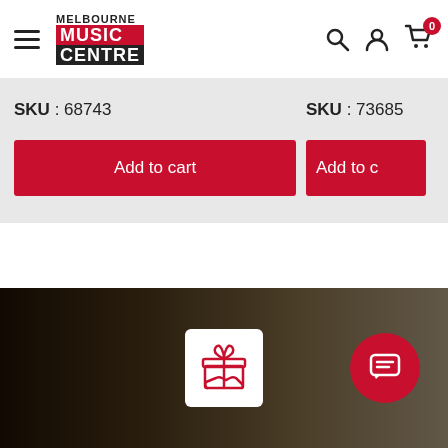[Figure (logo): Melbourne Music Centre logo with hamburger menu icon]
[Figure (other): Header icons: search, user account, shopping cart with badge showing 0]
SKU : 68743
SKU : 73685
Add to cart
Add to c
[Figure (illustration): Dark background section with a white box containing a red gift icon and a red circle with chat/message icon]
[Figure (other): Red circle chat button on right side]